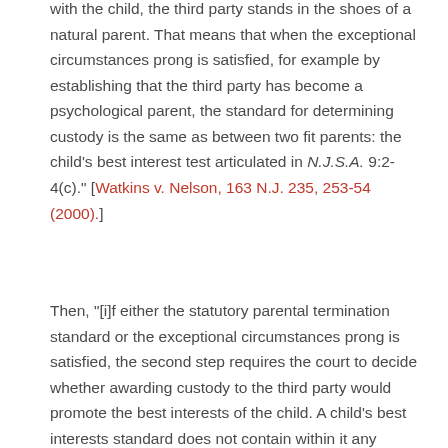with the child, the third party stands in the shoes of a natural parent. That means that when the exceptional circumstances prong is satisfied, for example by establishing that the third party has become a psychological parent, the standard for determining custody is the same as between two fit parents: the child's best interest test articulated in N.J.S.A. 9:2-4(c)." [Watkins v. Nelson, 163 N.J. 235, 253-54 (2000).]
Then, "[i]f either the statutory parental termination standard or the exceptional circumstances prong is satisfied, the second step requires the court to decide whether awarding custody to the third party would promote the best interests of the child. A child's best interests standard does not contain within it any